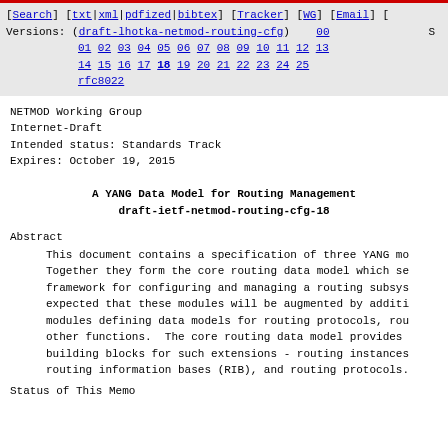[Search] [txt|xml|pdfized|bibtex] [Tracker] [WG] [Email] Versions: (draft-lhotka-netmod-routing-cfg) 00 S 01 02 03 04 05 06 07 08 09 10 11 12 13 14 15 16 17 18 19 20 21 22 23 24 25 rfc8022
NETMOD Working Group
Internet-Draft
Intended status: Standards Track
Expires: October 19, 2015
A YANG Data Model for Routing Management
draft-ietf-netmod-routing-cfg-18
Abstract
This document contains a specification of three YANG mo Together they form the core routing data model which se framework for configuring and managing a routing subsys expected that these modules will be augmented by additi modules defining data models for routing protocols, rou other functions.  The core routing data model provides building blocks for such extensions - routing instances routing information bases (RIB), and routing protocols.
Status of This Memo